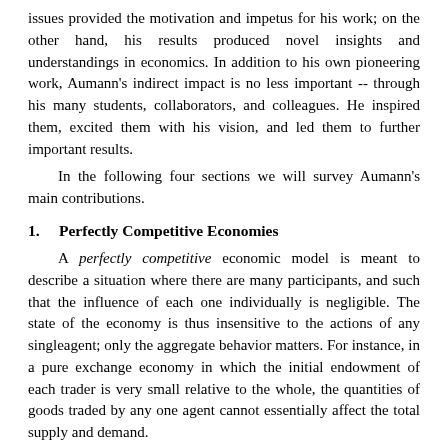issues provided the motivation and impetus for his work; on the other hand, his results produced novel insights and understandings in economics. In addition to his own pioneering work, Aumann's indirect impact is no less important -- through his many students, collaborators, and colleagues. He inspired them, excited them with his vision, and led them to further important results.
In the following four sections we will survey Aumann's main contributions.
1.    Perfectly Competitive Economies
A perfectly competitive economic model is meant to describe a situation where there are many participants, and such that the influence of each one individually is negligible. The state of the economy is thus insensitive to the actions of any singleagent; only the aggregate behavior matters. For instance, in a pure exchange economy in which the initial endowment of each trader is very small relative to the whole, the quantities of goods traded by any one agent cannot essentially affect the total supply and demand.
The first question is: What is the correct way of modeling perfect competition? Aumann introduced the model of economies with a continuum of participants, as the appropriate model where each individual is indeed insignificant: